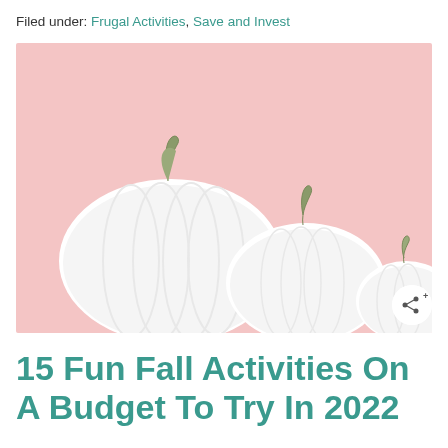Filed under: Frugal Activities, Save and Invest
[Figure (photo): Three white pumpkins of decreasing size arranged left to right against a soft pink background, with a share button in the bottom-right corner of the image.]
15 Fun Fall Activities On A Budget To Try In 2022